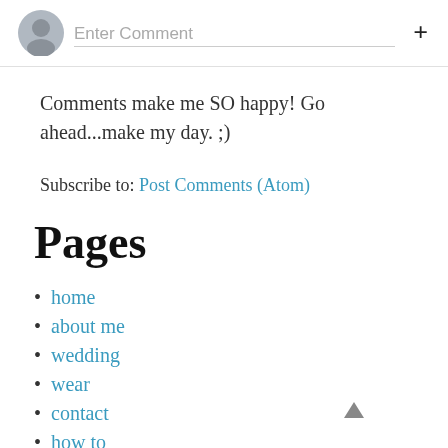[Figure (other): Comment input area with grey avatar icon, 'Enter Comment' placeholder text field, and a plus (+) button on the right]
Comments make me SO happy! Go ahead...make my day. ;)
Subscribe to: Post Comments (Atom)
Pages
home
about me
wedding
wear
contact
how to